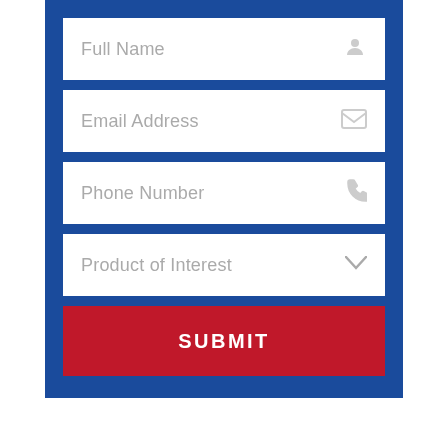[Figure (infographic): Web form with fields: Full Name, Email Address, Phone Number, Product of Interest, and a red SUBMIT button on blue background]
HAVE QUESTIONS?
Call for a Price
Fill Out a Form
Our Services